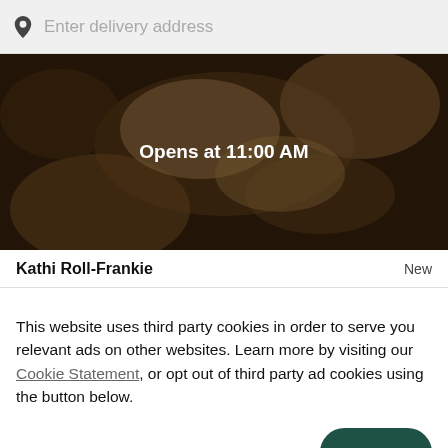Enter delivery address
[Figure (photo): Dark overhead photo of kathi rolls/wraps on a dark surface with a semi-transparent dark overlay and text 'Opens at 11:00 AM' in the center]
Opens at 11:00 AM
Kathi Roll-Frankie
New
This website uses third party cookies in order to serve you relevant ads on other websites. Learn more by visiting our Cookie Statement, or opt out of third party ad cookies using the button below.
OPT OUT
GOT IT